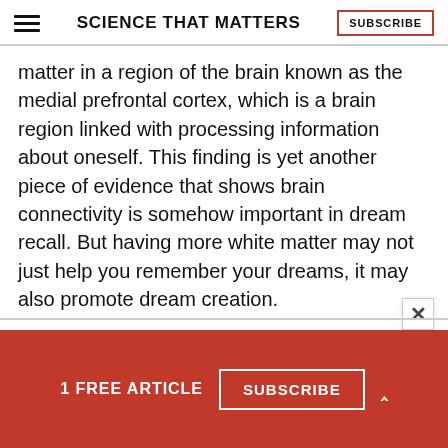SCIENCE THAT MATTERS | SUBSCRIBE
matter in a region of the brain known as the medial prefrontal cortex, which is a brain region linked with processing information about oneself. This finding is yet another piece of evidence that shows brain connectivity is somehow important in dream recall. But having more white matter may not just help you remember your dreams, it may also promote dream creation.
1 FREE ARTICLE  SUBSCRIBE